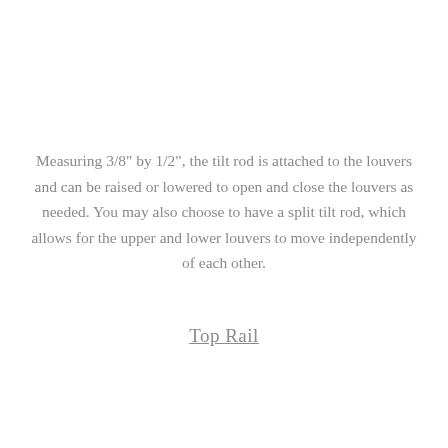Measuring 3/8" by 1/2", the tilt rod is attached to the louvers and can be raised or lowered to open and close the louvers as needed. You may also choose to have a split tilt rod, which allows for the upper and lower louvers to move independently of each other.
Top Rail